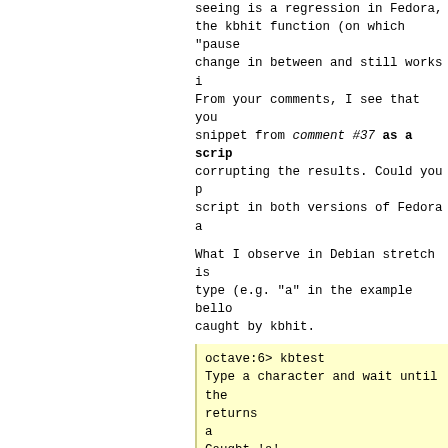seeing is a regression in Fedora, the kbhit function (on which "pause" change in between and still works in From your comments, I see that you snippet from comment #37 as a script corrupting the results. Could you please script in both versions of Fedora and
What I observe in Debian stretch is type (e.g. "a" in the example below caught by kbhit.
octave:6> kbtest
Type a character and wait until the returns
a
Caught 'a'
octave:7>
(file #45912)
Fri 23 Nov 2018 04:39:16 PM UTC, com
On Fedora 28 it is kind of hit-and-
octave:11> disp ("Type a character"
Type a character
octave:12> pause (5)